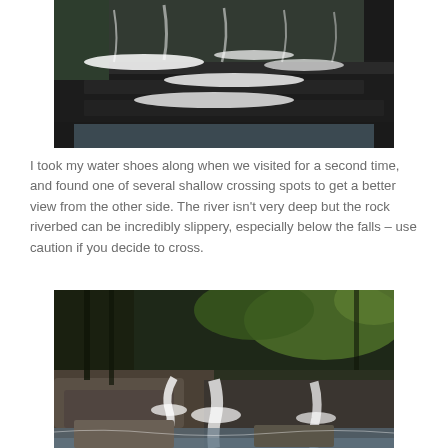[Figure (photo): A multi-tiered waterfall cascading over dark layered rock ledges, with white rushing water and a pool at the bottom. Green trees visible in the background on the left.]
I took my water shoes along when we visited for a second time, and found one of several shallow crossing spots to get a better view from the other side. The river isn't very deep but the rock riverbed can be incredibly slippery, especially below the falls – use caution if you decide to cross.
[Figure (photo): A wide, shallow waterfall flowing over rocky ledges surrounded by lush green forest. Multiple cascading sections visible, with calm pools and large flat boulders in the foreground.]